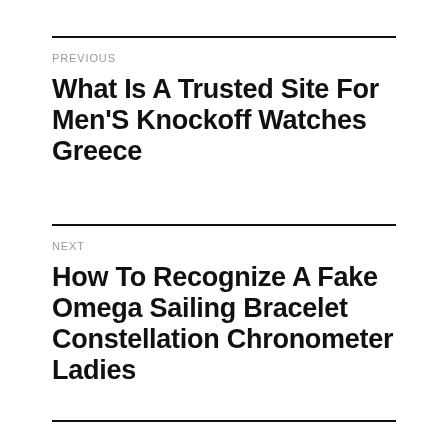PREVIOUS
What Is A Trusted Site For Men'S Knockoff Watches Greece
NEXT
How To Recognize A Fake Omega Sailing Bracelet Constellation Chronometer Ladies